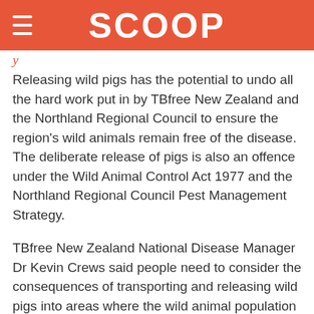SCOOP
y
Releasing wild pigs has the potential to undo all the hard work put in by TBfree New Zealand and the Northland Regional Council to ensure the region's wild animals remain free of the disease. The deliberate release of pigs is also an offence under the Wild Animal Control Act 1977 and the Northland Regional Council Pest Management Strategy.
TBfree New Zealand National Disease Manager Dr Kevin Crews said people need to consider the consequences of transporting and releasing wild pigs into areas where the wild animal population is known to be free of TB.
“The beef, dairy and deer sectors are still vulnerable to bovine TB. We are all working hard to eradicate this disease from New Zealand and the illegal release of